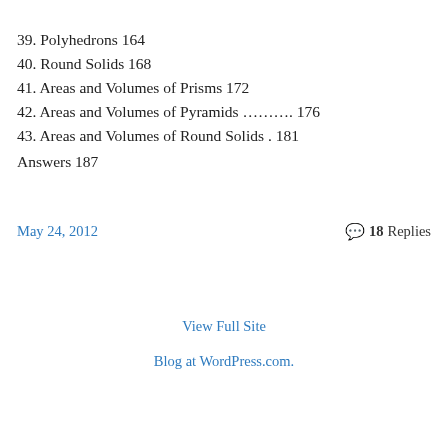39. Polyhedrons 164
40. Round Solids 168
41. Areas and Volumes of Prisms 172
42. Areas and Volumes of Pyramids ………. 176
43. Areas and Volumes of Round Solids . 181
Answers 187
May 24, 2012
💬 18 Replies
View Full Site
Blog at WordPress.com.